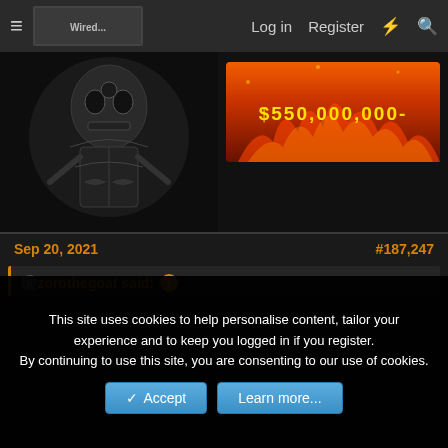≡  [site logo]   Log in   Register   ⚡   🔍
[Figure (photo): Left banner: dark ornate skull/figure artwork in black and white]
[Figure (photo): Right banner: fiery orange/red background with text '$550,000,000-']
Sep 20, 2021
#187,247
h_zorothegoat said: ↑
[Figure (illustration): Anime character (Goku from Dragon Ball) laughing with arms crossed, wearing orange gi]
This is why reddit is dumbest place
This site uses cookies to help personalise content, tailor your experience and to keep you logged in if you register.
By continuing to use this site, you are consenting to our use of cookies.
✓ Accept   Learn more...